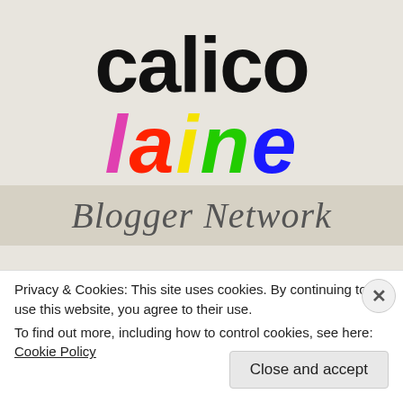[Figure (logo): Calico Laine Blogger Network logo. 'calico' in large black bold text, 'laine' in large italic multicolor letters (l=pink, a=red, i=yellow, n=green, e=blue), 'Blogger Network' in italic gray script below on a beige/tan background.]
Privacy & Cookies: This site uses cookies. By continuing to use this website, you agree to their use.
To find out more, including how to control cookies, see here: Cookie Policy
Close and accept